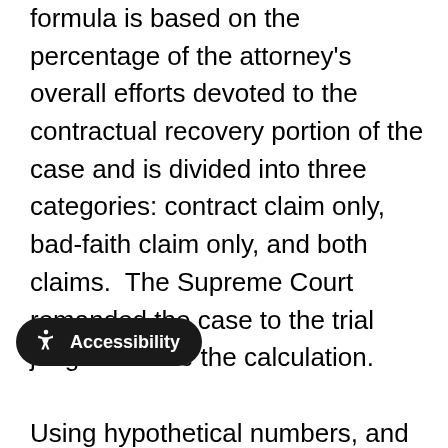formula is based on the percentage of the attorney's overall efforts devoted to the contractual recovery portion of the case and is divided into three categories: contract claim only, bad-faith claim only, and both claims.  The Supreme Court remanded the case to the trial judge to make the calculation.

Using hypothetical numbers, and assuming a total compensatory award of $1 million, the 40% contingency fee would be $400,000.  If the policyholder's lawyer spent 1,500 total hours on the case, and we approve the breakdown as follows: 200 hours on the contract claim only,